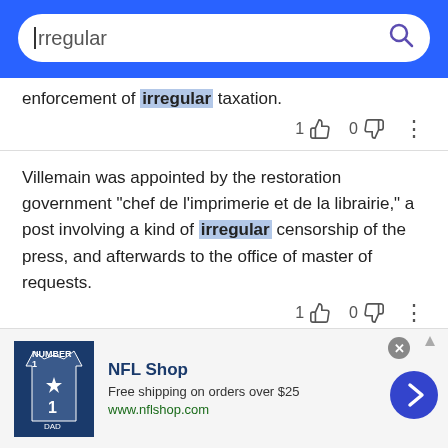Irregular (search bar)
enforcement of irregular taxation.
1  👍  0  👎  ⋮
Villemain was appointed by the restoration government "chef de l'imprimerie et de la librairie," a post involving a kind of irregular censorship of the press, and afterwards to the office of master of requests.
1  👍  0  👎  ⋮
In 1816 the Spanish general Laserna, having been appointed commander-inchief of Upper Peru, made an attempt to invade the Argentine provinces,
[Figure (screenshot): NFL Shop advertisement banner with jersey image, free shipping offer, and navigation arrow button]